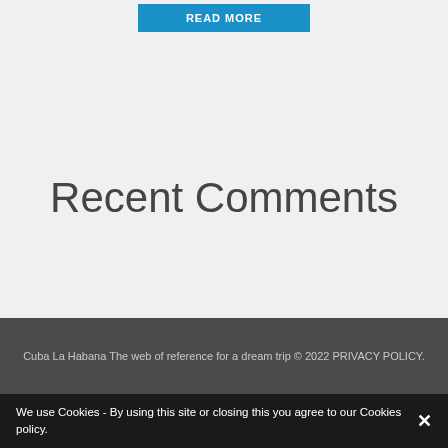READ MORE
Recent Comments
Cuba La Habana The web of reference for a dream trip © 2022 PRIVACY POLICY.
We use Cookies - By using this site or closing this you agree to our Cookies policy.